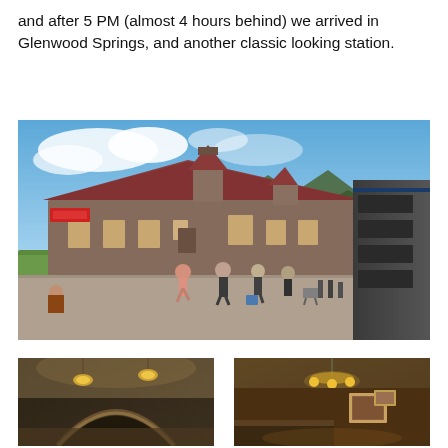and after 5 PM (almost 4 hours behind) we arrived in Glenwood Springs, and another classic looking station.
[Figure (photo): Outdoor photograph of the Glenwood Springs Amtrak station, a historic stone building with dark red/brown roof, mountains in background, people walking on the platform alongside a train on the right side.]
[Figure (photo): Interior photo of a room, bottom-left, showing a curved archway and hanging light fixtures with warm lighting.]
[Figure (photo): Interior photo of a room, bottom-right, showing a chandelier and framed picture on wall with warm lighting.]